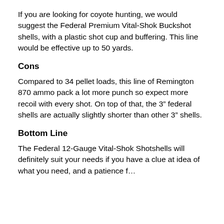If you are looking for coyote hunting, we would suggest the Federal Premium Vital-Shok Buckshot shells, with a plastic shot cup and buffering. This line would be effective up to 50 yards.
Cons
Compared to 34 pellet loads, this line of Remington 870 ammo pack a lot more punch so expect more recoil with every shot. On top of that, the 3” federal shells are actually slightly shorter than other 3” shells.
Bottom Line
The Federal 12-Gauge Vital-Shok Shotshells will definitely suit your needs if you have a clue at idea of what you need, and a patience f…